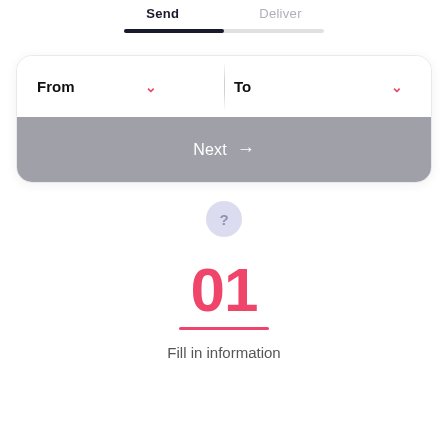Send   Deliver
[Figure (infographic): Progress bar showing 50% completion, with 'Send' step active (dark navy) and 'Deliver' step inactive (gray)]
[Figure (infographic): Form card with From/To dropdown fields and a gray Next button with arrow]
[Figure (infographic): Help/question mark circle button (light purple background)]
01
Fill in information